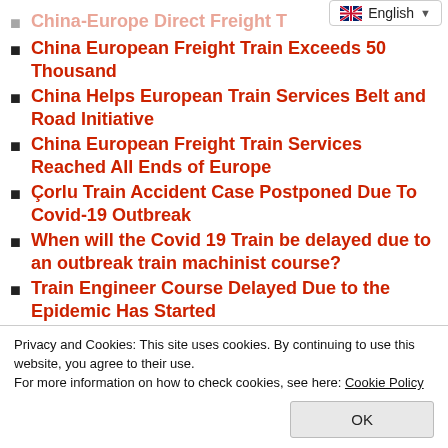China-Europe Direct Freight T...
China European Freight Train Exceeds 50 Thousand
China Helps European Train Services Belt and Road Initiative
China European Freight Train Services Reached All Ends of Europe
Çorlu Train Accident Case Postponed Due To Covid-19 Outbreak
When will the Covid 19 Train be delayed due to an outbreak train machinist course?
Train Engineer Course Delayed Due to the Epidemic Has Started
Privacy and Cookies: This site uses cookies. By continuing to use this website, you agree to their use.
For more information on how to check cookies, see here: Cookie Policy